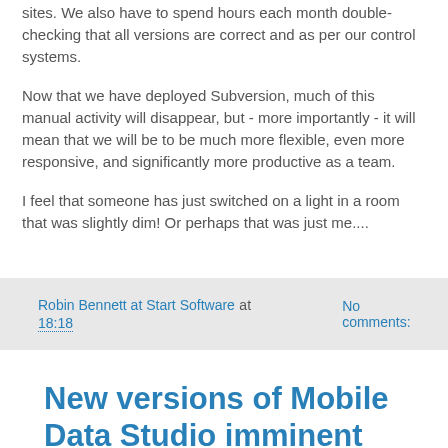sites.  We also have to spend hours each month double-checking that all versions are correct and as per our control systems.
Now that we have deployed Subversion, much of this manual activity will disappear, but - more importantly - it will mean that we will be to be much more flexible, even more responsive, and significantly more productive as a team.
I feel that someone has just switched on a light in a room that was slightly dim!  Or perhaps that was just me....
Robin Bennett at Start Software at 18:18    No comments:
New versions of Mobile Data Studio imminent